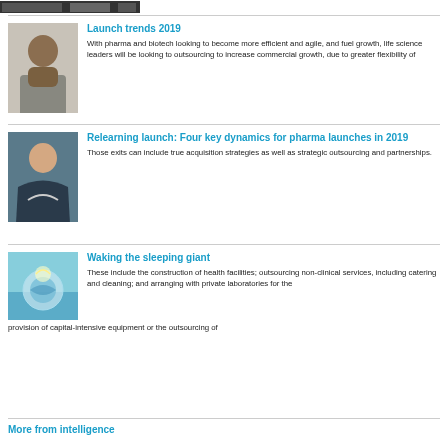[Figure (photo): Small dark banner image at top]
[Figure (photo): Portrait photo of a woman in a grey blazer and black turtleneck]
Launch trends 2019
With pharma and biotech looking to become more efficient and agile, and fuel growth, life science leaders will be looking to outsourcing to increase commercial growth, due to greater flexibility of
[Figure (photo): Portrait photo of a smiling woman with long brown hair]
Relearning launch: Four key dynamics for pharma launches in 2019
Those exits can include true acquisition strategies as well as strategic outsourcing and partnerships.
[Figure (photo): Photo of a glowing globe held up against a sky background]
Waking the sleeping giant
These include the construction of health facilities; outsourcing non-clinical services, including catering and cleaning; and arranging with private laboratories for the provision of capital-intensive equipment or the outsourcing of
More from intelligence